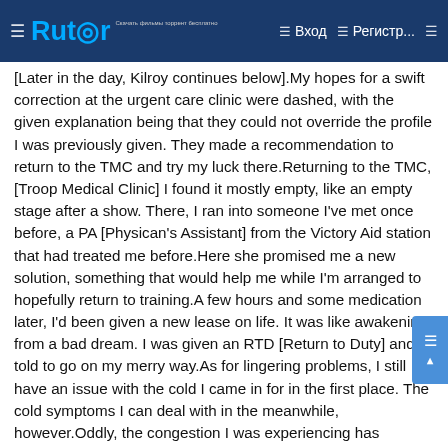Rutor — Вход — Регистр...
[Later in the day, Kilroy continues below].My hopes for a swift correction at the urgent care clinic were dashed, with the given explanation being that they could not override the profile I was previously given. They made a recommendation to return to the TMC and try my luck there.Returning to the TMC, [Troop Medical Clinic] I found it mostly empty, like an empty stage after a show. There, I ran into someone I've met once before, a PA [Physican's Assistant] from the Victory Aid station that had treated me before.Here she promised me a new solution, something that would help me while I'm arranged to hopefully return to training.A few hours and some medication later, I'd been given a new lease on life. It was like awakening from a bad dream. I was given an RTD [Return to Duty] and told to go on my merry way.As for lingering problems, I still have an issue with the cold I came in for in the first place. The cold symptoms I can deal with in the meanwhile, however.Oddly, the congestion I was experiencing has mutated into a feeling in my left lung that seems to resemble the pain of the organ itself swelling up. Externally I see nothing, but internally the stabbing pain I'm experiencing is new to me. [Kilroy turned out to have pleuritis...